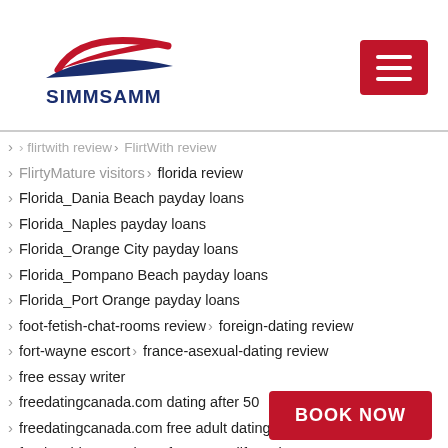SIMMSAMM
flirtwith review › FlirtWith review
FlirtyMature visitors › florida review
Florida_Dania Beach payday loans
Florida_Naples payday loans
Florida_Orange City payday loans
Florida_Pompano Beach payday loans
Florida_Port Orange payday loans
foot-fetish-chat-rooms review › foreign-dating review
fort-wayne escort › france-asexual-dating review
free essay writer
freedatingcanada.com dating after 50
freedatingcanada.com free adult dating
freelocaldates review › freesnapmilfs reviews
fresno escort services › Friendable official website
friendfinder ?berpr?fung › friendfinder x visitors
friendfinderx review › friendfinderx visitors
fruzo l'Internet › fubar review